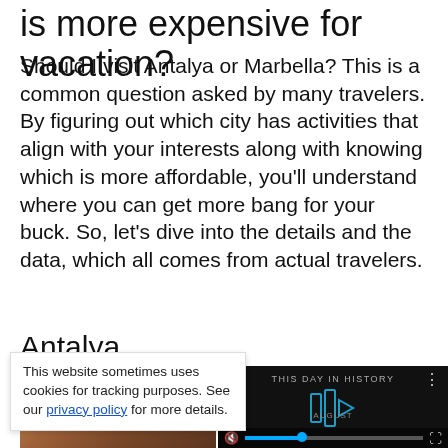is more expensive for vacation?
Should I visit Antalya or Marbella? This is a common question asked by many travelers. By figuring out which city has activities that align with your interests along with knowing which is more affordable, you'll understand where you can get more bang for your buck. So, let's dive into the details and the data, which all comes from actual travelers.
Antalya
[Figure (photo): Aerial or elevated view of Antalya cityscape with terracotta rooftops]
[Figure (screenshot): Video player showing 'THIS DAY IN HISTORY' with play controls and progress bar]
This website sometimes uses cookies for tracking purposes. See our privacy policy for more details.
Antalya is a city (mirrored/upside-down text visible at bottom)